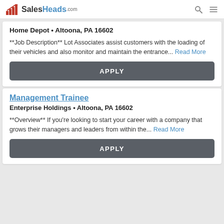SalesHeads.com
Home Depot • Altoona, PA 16602
**Job Description** Lot Associates assist customers with the loading of their vehicles and also monitor and maintain the entrance... Read More
APPLY
Management Trainee
Enterprise Holdings • Altoona, PA 16602
**Overview** If you're looking to start your career with a company that grows their managers and leaders from within the... Read More
APPLY